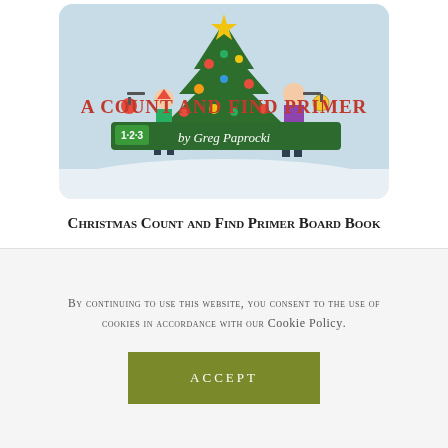[Figure (illustration): Book cover for 'A Count and Find Primer' by Greg Paprocki — Christmas-themed children's board book cover showing cartoon people around a decorated Christmas tree on a snowy background with red and green text.]
Christmas Count and Find Primer Board Book
£7.99
Add to Basket
By continuing to use this website, you consent to the use of cookies in accordance with our Cookie Policy.
Accept